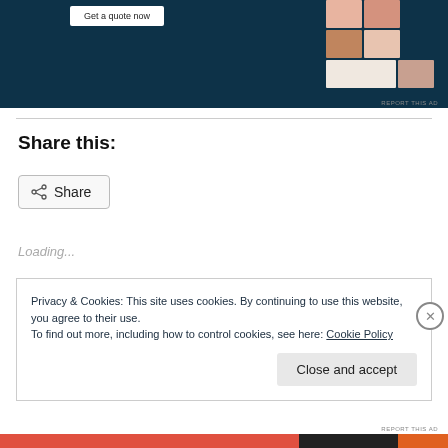[Figure (screenshot): Advertisement banner with dark navy background showing 'Get a quote now' button and photo grid of people on pink background]
Share this:
[Figure (screenshot): Share button with share icon]
Loading...
Privacy & Cookies: This site uses cookies. By continuing to use this website, you agree to their use.
To find out more, including how to control cookies, see here: Cookie Policy